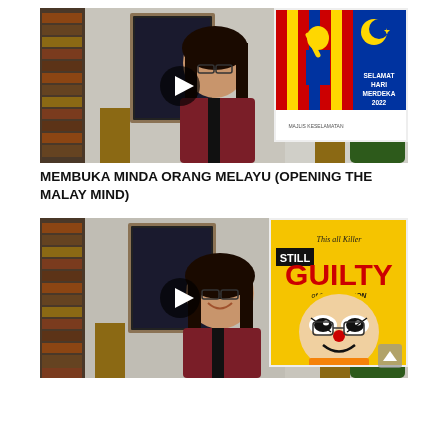[Figure (screenshot): Video thumbnail showing a woman with dark hair and glasses wearing a maroon jacket, seated in front of bookshelves and a framed artwork. A play button triangle is visible in the center. Top-right corner shows an inset poster with Malaysian flag colors, a figure behind bars, and text 'SELAMAT HARI MERDEKA 2022'.]
MEMBUKA MINDA ORANG MELAYU (OPENING THE MALAY MIND)
[Figure (screenshot): Video thumbnail showing the same woman smiling, seated in front of bookshelves. A play button triangle is visible. Top-right corner shows an inset poster with yellow background, a clown-like face with the text 'This all Killer', 'STILL GUILTY OF CORRUPTION'.]